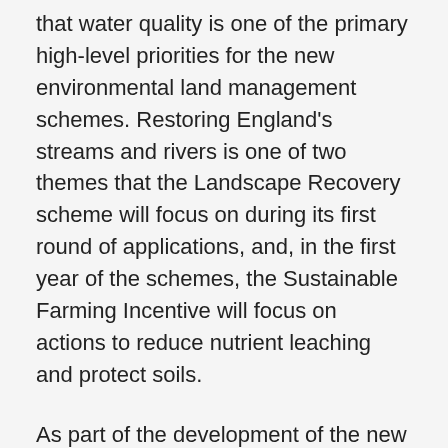that water quality is one of the primary high-level priorities for the new environmental land management schemes. Restoring England's streams and rivers is one of two themes that the Landscape Recovery scheme will focus on during its first round of applications, and, in the first year of the schemes, the Sustainable Farming Incentive will focus on actions to reduce nutrient leaching and protect soils.
As part of the development of the new environmental land management schemes, Defra have been working closely with experts in Natural England and the Environment Agency to ensure that these schemes will support farmers to improve water quality. Parameters outlined in the